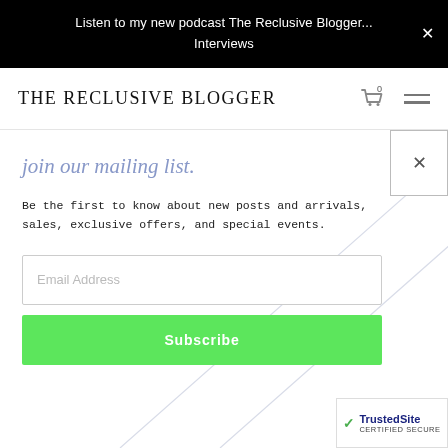Listen to my new podcast The Reclusive Blogger... Interviews
THE RECLUSIVE BLOGGER
join our mailing list.
Be the first to know about new posts and arrivals, sales, exclusive offers, and special events.
Email Address
Subscribe
[Figure (screenshot): TrustedSite Certified Secure badge in bottom right corner]